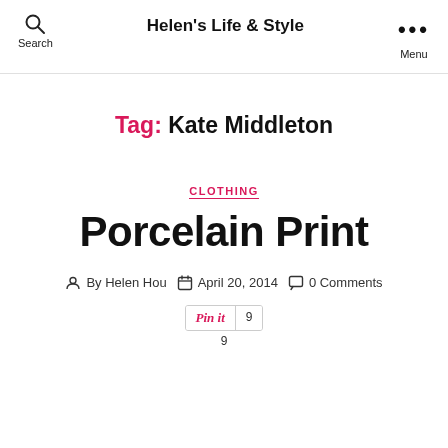Search  Helen's Life & Style  Menu
Tag: Kate Middleton
CLOTHING
Porcelain Print
By Helen Hou  April 20, 2014  0 Comments
Pin it  9  9